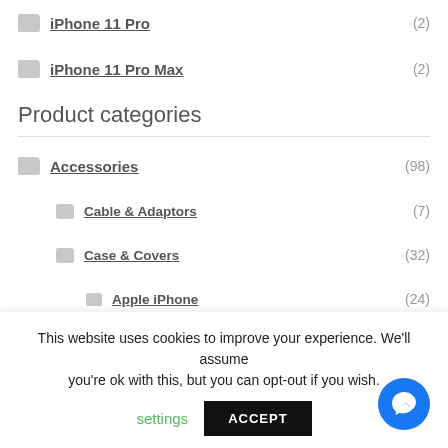iPhone 11 Pro (2)
iPhone 11 Pro Max (2)
Product categories
Accessories (98)
Cable & Adaptors (7)
Case & Covers (32)
Apple iPhone (24)
Samsung (8)
This website uses cookies to improve your experience. We'll assume you're ok with this, but you can opt-out if you wish.
settings  ACCEPT